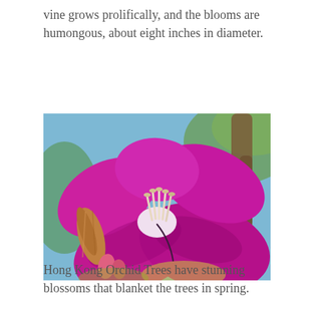vine grows prolifically, and the blooms are humongous, about eight inches in diameter.
[Figure (photo): Close-up photograph of a vibrant magenta/purple Hong Kong Orchid Tree bloom (Bauhinia blakeana) with prominent white stamens, alongside an unopened brown bud, set against a blurred green and blue background.]
Hong Kong Orchid Trees have stunning blossoms that blanket the trees in spring.